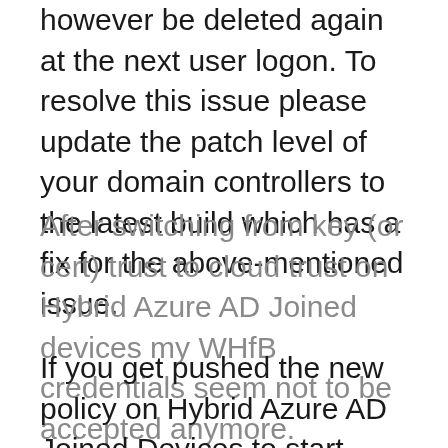however be deleted again at the next user logon. To resolve this issue please update the patch level of your domain controllers to the latest build which has a fix for the above-mentioned issue.
After switching from key (or cert) trust to cloud trust on Hybrid Azure AD Joined devices my WHfB credentials seem not to be accepted anymore.
If you get pushed the new policy on Hybrid Azure AD Joined Devices to start using cloud trust your first unlock will need Domain